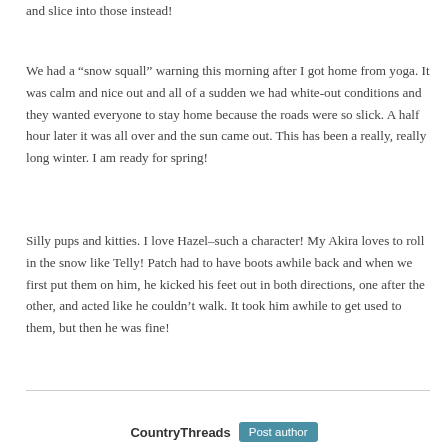and slice into those instead!
We had a “snow squall” warning this morning after I got home from yoga. It was calm and nice out and all of a sudden we had white-out conditions and they wanted everyone to stay home because the roads were so slick. A half hour later it was all over and the sun came out. This has been a really, really long winter. I am ready for spring!
Silly pups and kitties. I love Hazel–such a character! My Akira loves to roll in the snow like Telly! Patch had to have boots awhile back and when we first put them on him, he kicked his feet out in both directions, one after the other, and acted like he couldn’t walk. It took him awhile to get used to them, but then he was fine!
CountryThreads  Post author